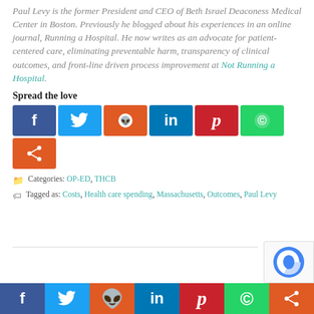Paul Levy is the former President and CEO of Beth Israel Deaconess Medical Center in Boston. Previously he blogged about his experiences in an online journal, Running a Hospital. He now writes as an advocate for patient-centered care, eliminating preventable harm, transparency of clinical outcomes, and front-line driven process improvement at Not Running a Hospital.
Spread the love
[Figure (infographic): Social share buttons: Facebook (blue), Twitter (light blue), Reddit (orange), LinkedIn (dark blue), Pinterest (red), WhatsApp (green), and a share button (orange)]
Categories: OP-ED, THCB
Tagged as: Costs, Health care spending, Massachusetts, Outcomes, Paul Levy
[Figure (infographic): Bottom bar with social share buttons: Facebook, Twitter, Reddit, LinkedIn, Pinterest, WhatsApp, Share]